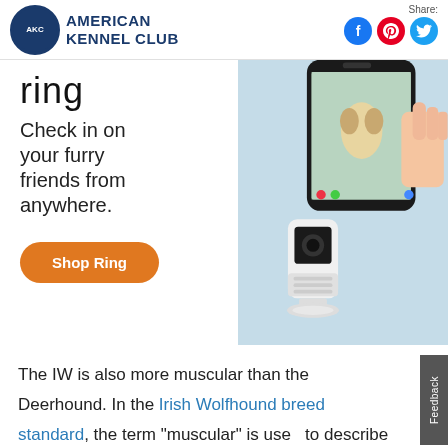[Figure (logo): American Kennel Club logo with AKC circular emblem and text]
Share:
[Figure (infographic): Ring advertisement banner: Ring logo, tagline 'Check in on your furry friends from anywhere.', Shop Ring button, phone showing puppy on video call, Ring indoor camera]
The IW is also more muscular than the Deerhound. In the Irish Wolfhound breed standard, the term “muscular” is used to describe the breed’s neck, forequarters, leg, and hindquarters. The general appearance section of the